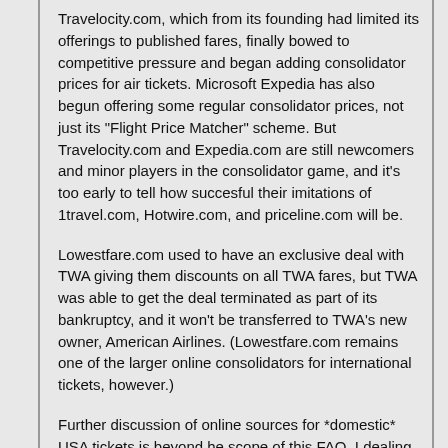Travelocity.com, which from its founding had limited its offerings to published fares, finally bowed to competitive pressure and began adding consolidator prices for air tickets. Microsoft Expedia has also begun offering some regular consolidator prices, not just its "Flight Price Matcher" scheme. But Travelocity.com and Expedia.com are still newcomers and minor players in the consolidator game, and it's too early to tell how succesful their imitations of 1travel.com, Hotwire.com, and priceline.com will be.
Lowestfare.com used to have an exclusive deal with TWA giving them discounts on all TWA fares, but TWA was able to get the deal terminated as part of its bankruptcy, and it won't be transferred to TWA's new owner, American Airlines. (Lowestfare.com remains one of the larger online consolidators for international tickets, however.)
Further discussion of online sources for *domestic* USA tickets is beyond he scope of this FAQ. I dealing with these issues in much more detail in my latest book, "The Practical Nomad Guide to the Online Travel Marketplace".